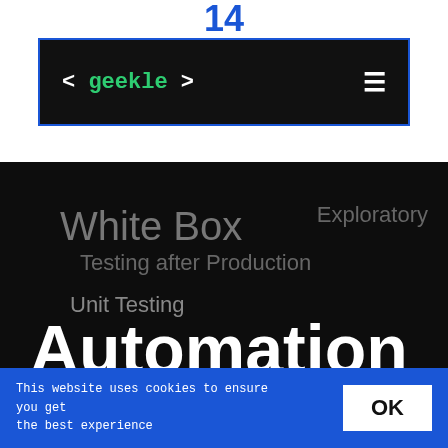14
[Figure (screenshot): Navigation bar with '< geekle >' logo on dark background with blue border and hamburger menu icon]
[Figure (infographic): Word cloud on dark background featuring words: White Box, Exploratory, Testing after Production, Unit Testing, Automation, Processing, Mocking Tools, Black Box, and large letter A]
This website uses cookies to ensure you get the best experience